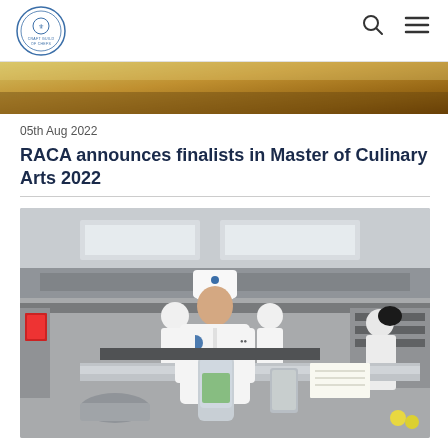Craft Guild of Chefs — navigation header with logo, search and menu icons
[Figure (photo): Cropped top portion of a food/culinary hero image showing warm golden tones]
05th Aug 2022
RACA announces finalists in Master of Culinary Arts 2022
[Figure (photo): Professional kitchen scene with chefs in white uniforms and toques working at stations. A central chef in the foreground uses a blender, with other chefs visible in the background in a modern commercial kitchen with stainless steel equipment and overhead ventilation.]